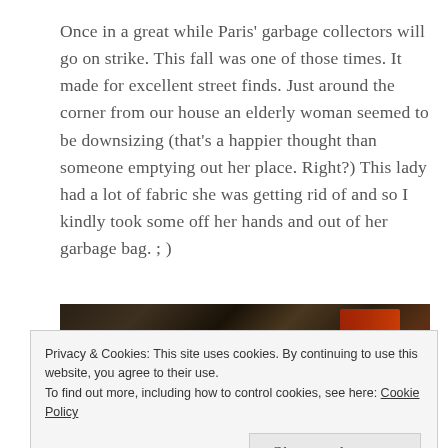Once in a great while Paris' garbage collectors will go on strike. This fall was one of those times. It made for excellent street finds. Just around the corner from our house an elderly woman seemed to be downsizing (that's a happier thought than someone emptying out her place. Right?) This lady had a lot of fabric she was getting rid of and so I kindly took some off her hands and out of her garbage bag. ; )
[Figure (photo): Dark photograph showing what appears to be fabric or textile materials, with a dark upper portion showing diagonal patterns and a golden/ornate lower portion visible at the bottom of the frame.]
Privacy & Cookies: This site uses cookies. By continuing to use this website, you agree to their use.
To find out more, including how to control cookies, see here: Cookie Policy
Close and accept